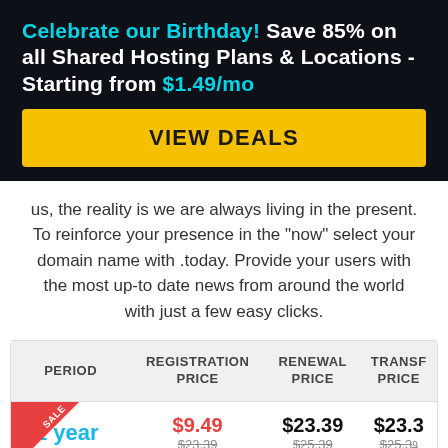Celebrate our Birthday! Save 85% on all Shared Hosting Plans & Locations - Starting from $1.49/mo
VIEW DEALS
us, the reality is we are always living in the present. To reinforce your presence in the "now" select your domain name with .today. Provide your users with the most up-to date news from around the world with just a few easy clicks.
| PERIOD | REGISTRATION PRICE | RENEWAL PRICE | TRANSFER PRICE |
| --- | --- | --- | --- |
| 1 year | $9.49 / $23.39 | $23.39 / $25.39 | $23.3 / $25.3 |
| 2 years | $32.88 | $46.78 |  |